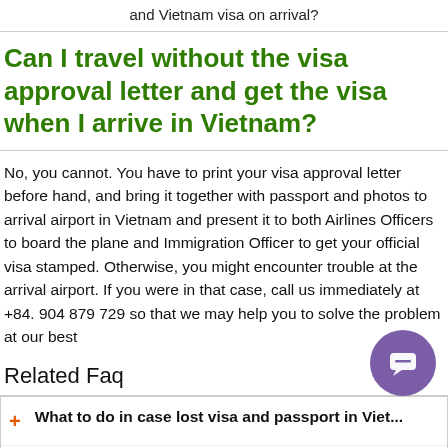and Vietnam visa on arrival?
Can I travel without the visa approval letter and get the visa when I arrive in Vietnam?
No, you cannot. You have to print your visa approval letter before hand, and bring it together with passport and photos to arrival airport in Vietnam and present it to both Airlines Officers to board the plane and Immigration Officer to get your official visa stamped. Otherwise, you might encounter trouble at the arrival airport. If you were in that case, call us immediately at +84. 904 879 729 so that we may help you to solve the problem at our best
Related Faq
What to do in case lost visa and passport in Viet...
What if I encounter any other trouble at the arrival airport?